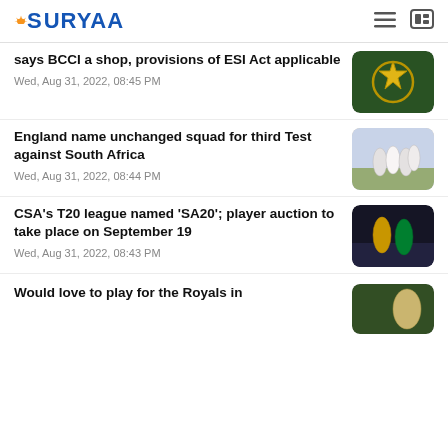SURYAA
says BCCI a shop, provisions of ESI Act applicable
Wed, Aug 31, 2022, 08:45 PM
[Figure (photo): BCCI logo/emblem photo]
England name unchanged squad for third Test against South Africa
Wed, Aug 31, 2022, 08:44 PM
[Figure (photo): England cricket team photo]
CSA's T20 league named 'SA20'; player auction to take place on September 19
Wed, Aug 31, 2022, 08:43 PM
[Figure (photo): South Africa cricket players photo]
Would love to play for the Royals in
[Figure (photo): Partial cricket photo]